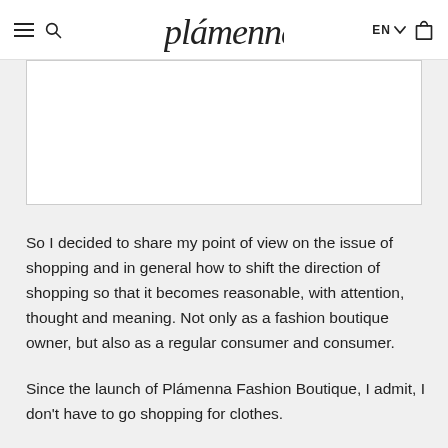≡  🔍  plámenna  EN ∨  🛍
[Figure (photo): White rectangular image placeholder with light gray border]
So I decided to share my point of view on the issue of shopping and in general how to shift the direction of shopping so that it becomes reasonable, with attention, thought and meaning. Not only as a fashion boutique owner, but also as a regular consumer and consumer.
Since the launch of Plámenna Fashion Boutique, I admit, I don't have to go shopping for clothes.